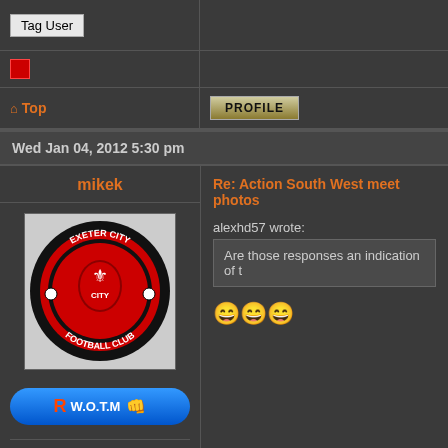Tag User
Top
PROFILE
Wed Jan 04, 2012 5:30 pm
mikek
Re: Action South West meet photos
[Figure (photo): Exeter City Football Club logo - circular badge with red and black colors]
W.O.T.M
Joined: Sat Mar 26, 2011 5:46 pm
Posts: 24418
Age: 60
Location: knee deep in shit
alexhd57 wrote:
Are those responses an indication of t